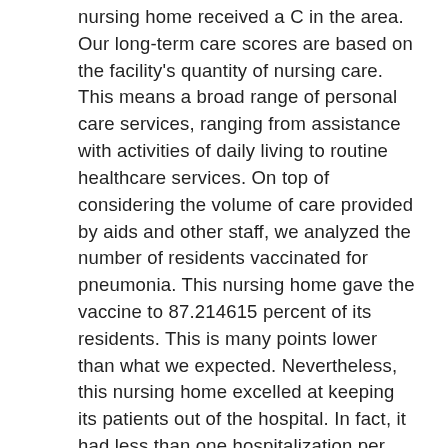nursing home received a C in the area. Our long-term care scores are based on the facility's quantity of nursing care. This means a broad range of personal care services, ranging from assistance with activities of daily living to routine healthcare services. On top of considering the volume of care provided by aids and other staff, we analyzed the number of residents vaccinated for pneumonia. This nursing home gave the vaccine to 87.214615 percent of its residents. This is many points lower than what we expected. Nevertheless, this nursing home excelled at keeping its patients out of the hospital. In fact, it had less than one hospitalization per 1,000 long-term resident days, which is an impressively low number.